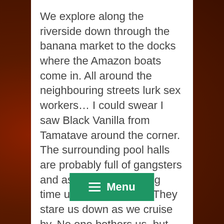We explore along the riverside down through the banana market to the docks where the Amazon boats come in. All around the neighbouring streets lurk sex workers… I could swear I saw Black Vanilla from Tamatave around the corner. The surrounding pool halls are probably full of gangsters and assassins just killing time until their next hit. They stare us down as we cruise by. No one bothers us, but there's definitely anarchy in the air. We are in the Brazilian frontiers.
We take a boat up the Amazon today with Jack and three Chinese dudes from Hebei province. The breeze from the speedboat is deceiving… it's actually an u[nbearably hot] and humid day. We travel along [the Rio Negr]io Bianco. The